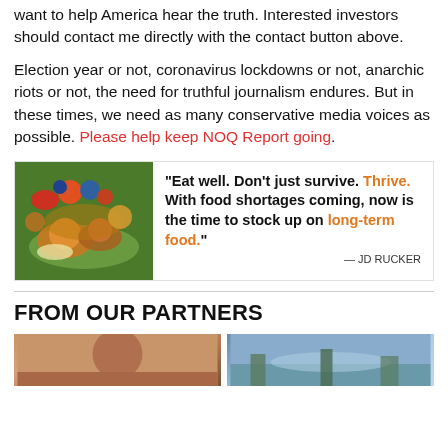want to help America hear the truth. Interested investors should contact me directly with the contact button above.
Election year or not, coronavirus lockdowns or not, anarchic riots or not, the need for truthful journalism endures. But in these times, we need as many conservative media voices as possible. Please help keep NOQ Report going.
[Figure (infographic): Advertisement banner with food image on left and quote text: "Eat well. Don't just survive. Thrive. With food shortages coming, now is the time to stock up on long-term food." — JD RUCKER]
FROM OUR PARTNERS
[Figure (photo): Two partner images side by side, left showing a person, right showing a landscape scene]